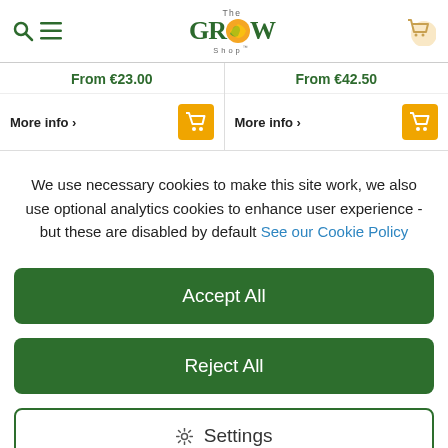[Figure (screenshot): The Grow Shop website header with logo, search/menu icons, and cart icon]
From €23.00
From €42.50
More info >
More info >
We use necessary cookies to make this site work, we also use optional analytics cookies to enhance user experience - but these are disabled by default See our Cookie Policy
Accept All
Reject All
Settings